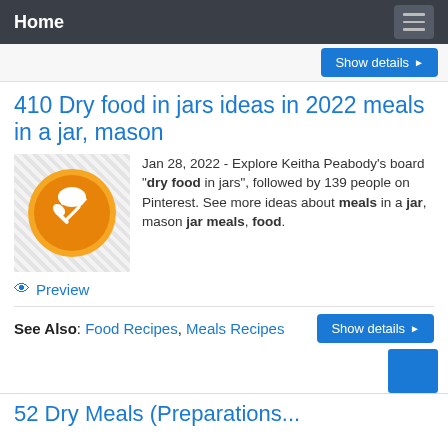Home
Show details
410 Dry food in jars ideas in 2022 meals in a jar, mason
[Figure (logo): Orange circle with white chef hat, spoon, and fork icons crossed]
Jan 28, 2022 - Explore Keitha Peabody's board "dry food in jars", followed by 139 people on Pinterest. See more ideas about meals in a jar, mason jar meals, food.
Preview
See Also: Food Recipes, Meals Recipes
Show details
52 Dry Meals (Preparations...